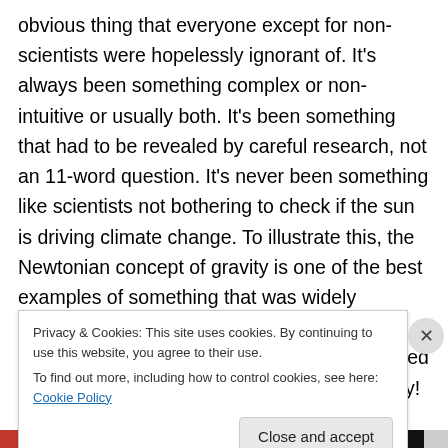obvious thing that everyone except for non-scientists were hopelessly ignorant of. It's always been something complex or non-intuitive or usually both. It's been something that had to be revealed by careful research, not an 11-word question. It's never been something like scientists not bothering to check if the sun is driving climate change. To illustrate this, the Newtonian concept of gravity is one of the best examples of something that was widely accepted in the modern scientific era that turned out to be wrong, but that was discredited by the amazingly complex concept of relativity! Further, Newton wasn't
Privacy & Cookies: This site uses cookies. By continuing to use this website, you agree to their use.
To find out more, including how to control cookies, see here: Cookie Policy
Close and accept